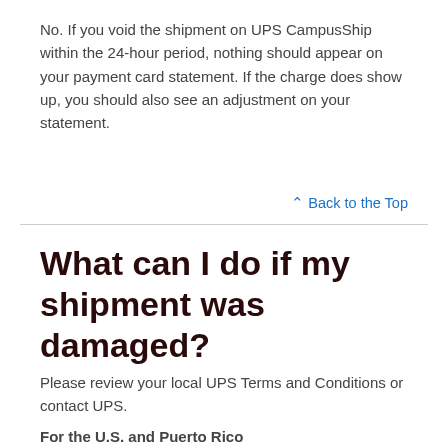No. If you void the shipment on UPS CampusShip within the 24-hour period, nothing should appear on your payment card statement. If the charge does show up, you should also see an adjustment on your statement.
↑ Back to the Top
What can I do if my shipment was damaged?
Please review your local UPS Terms and Conditions or contact UPS.
For the U.S. and Puerto Rico